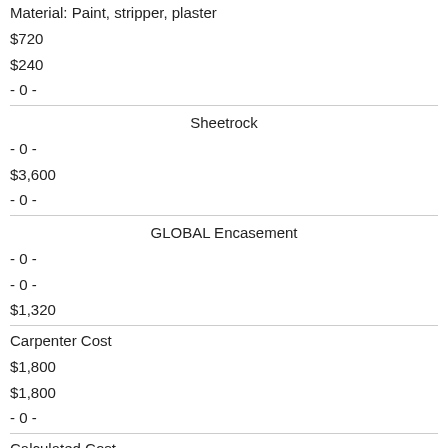Material: Paint, stripper, plaster
$720
$240
- 0 -
Sheetrock
- 0 -
$3,600
- 0 -
GLOBAL Encasement
- 0 -
- 0 -
$1,320
Carpenter Cost
$1,800
$1,800
- 0 -
Calculated Cost
$15,240
$8,880
$3,480
Industry Mark up @ 30%
$4,572
$2,664